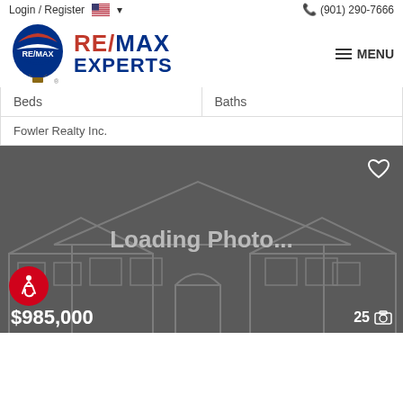Login / Register  🇺🇸 ▾    📞 (901) 290-7666
[Figure (logo): RE/MAX balloon logo with red, white, blue hot air balloon and RE/MAX EXPERTS text]
| Beds | Baths |
| --- | --- |
| Fowler Realty Inc. |  |
[Figure (photo): Loading Photo placeholder with grey background, outline of a house, and text 'Loading Photo...' centered. Heart icon top right. Accessibility icon bottom left. Price $985,000 bottom left. Photo count 25 bottom right.]